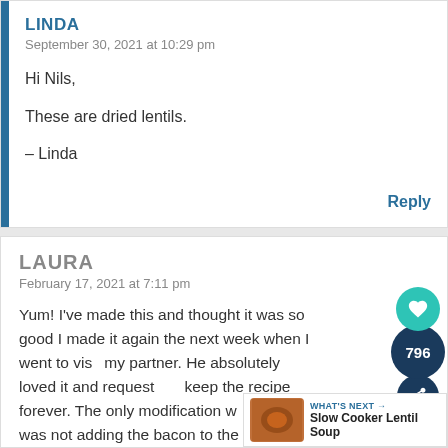LINDA
September 30, 2021 at 10:29 pm
Hi Nils,

These are dried lentils.

– Linda
Reply
LAURA
February 17, 2021 at 7:11 pm
Yum! I've made this and thought it was so good I made it again the next week when I went to visit my partner. He absolutely loved it and requested I keep the recipe forever. The only modification we made was not adding the bacon to the soup, we saved it and sprinkled it on top of the bowl to keep it crisp. Thank you so much for the wonderful recipe.
Reply